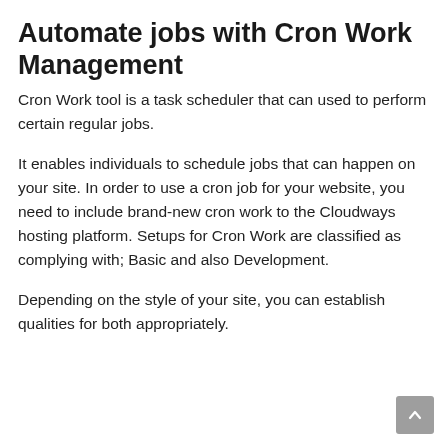Automate jobs with Cron Work Management
Cron Work tool is a task scheduler that can used to perform certain regular jobs.
It enables individuals to schedule jobs that can happen on your site. In order to use a cron job for your website, you need to include brand-new cron work to the Cloudways hosting platform. Setups for Cron Work are classified as complying with; Basic and also Development.
Depending on the style of your site, you can establish qualities for both appropriately.